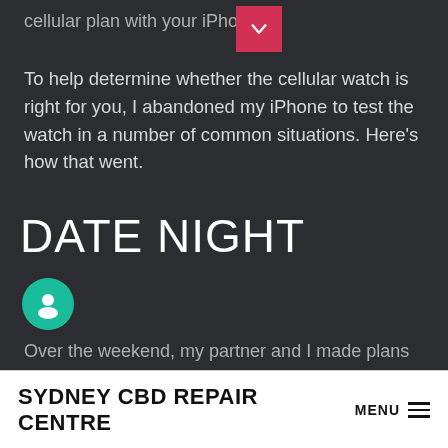cellular plan with your iPhone
To help determine whether the cellular watch is right for you, I abandoned my iPhone to test the watch in a number of common situations. Here's how that went.
DATE NIGHT
[Figure (illustration): Teal circle with a chat/face icon inside]
Over the weekend, my partner and I made plans to go to dinner at a sushi restaurant. I used the Apple Watch to summon a Lyft car to pick us up at home.
SYDNEY CBD REPAIR CENTRE  MENU ≡